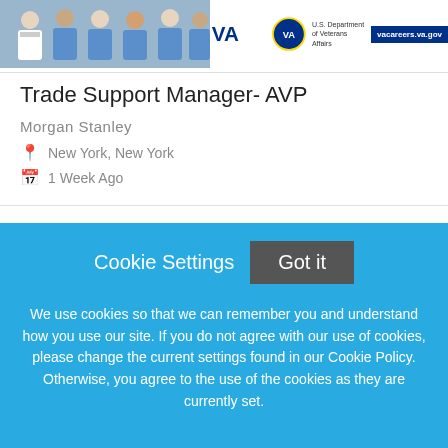[Figure (photo): VA careers banner with medical staff photo on left side and VA Department of Veterans Affairs logo and vacareers.va.gov button on the right]
Trade Support Manager- AVP
Morgan Stanley
New York, New York
1 Week Ago
Head of Futures Algo Trading Quants - Director level
Cookie Settings
Got it
We use cookies so that we can remember you and understand how you use our site. If you do not agree with our use of cookies, please change the current settings found in our Cookie Policy. Otherwise, you agree to the use of the cookies as they are currently set.